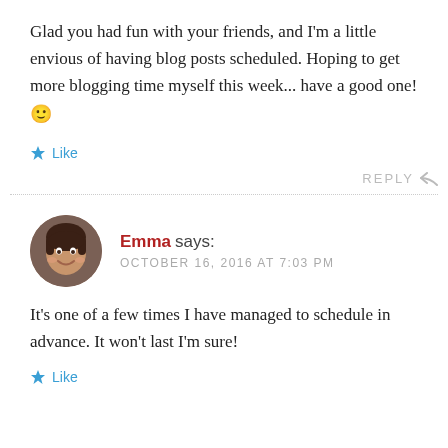Glad you had fun with your friends, and I'm a little envious of having blog posts scheduled. Hoping to get more blogging time myself this week... have a good one! 🙂
★ Like
REPLY ↩
Emma says: OCTOBER 16, 2016 AT 7:03 PM
It's one of a few times I have managed to schedule in advance. It won't last I'm sure!
★ Like